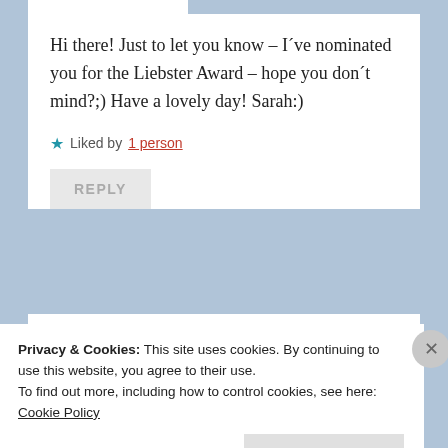Hi there! Just to let you know – I've nominated you for the Liebster Award – hope you don't mind?;) Have a lovely day! Sarah:)
★ Liked by 1 person
REPLY
mulchandmorecrafts
Privacy & Cookies: This site uses cookies. By continuing to use this website, you agree to their use.
To find out more, including how to control cookies, see here: Cookie Policy
Close and accept